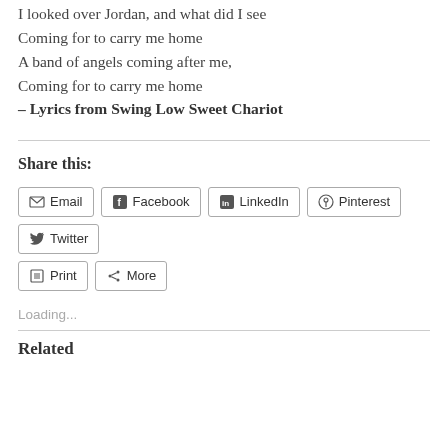I looked over Jordan, and what did I see
Coming for to carry me home
A band of angels coming after me,
Coming for to carry me home
– Lyrics from Swing Low Sweet Chariot
Share this:
Email
Facebook
LinkedIn
Pinterest
Twitter
Print
More
Loading...
Related